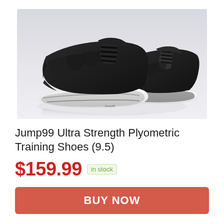[Figure (photo): A pair of black high-top athletic/basketball training shoes with white soles, displayed against a light grey/white background. The shoes are positioned at an angle showing both shoes, one behind the other.]
Jump99 Ultra Strength Plyometric Training Shoes (9.5)
$159.99 in stock
BUY NOW